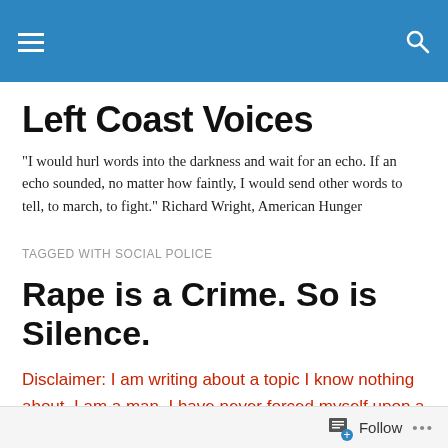Left Coast Voices — site header with hamburger menu and search icon
Left Coast Voices
"I would hurl words into the darkness and wait for an echo. If an echo sounded, no matter how faintly, I would send other words to tell, to march, to fight." Richard Wright, American Hunger
TAGGED WITH SOCIAL POLICE
Rape is a Crime. So is Silence.
Disclaimer: I am writing about a topic I know nothing about. I am a man. I have never forced myself upon a woman, never been forced, and it is a topic that I feel no
Follow ...